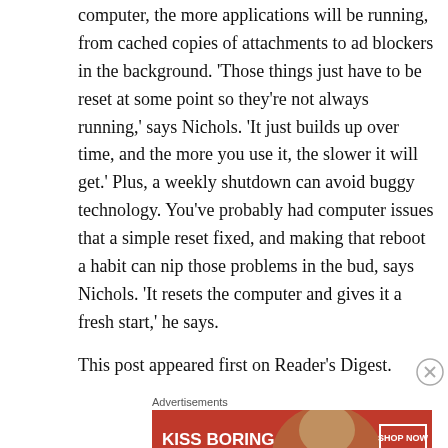computer, the more applications will be running, from cached copies of attachments to ad blockers in the background. 'Those things just have to be reset at some point so they're not always running,' says Nichols. 'It just builds up over time, and the more you use it, the slower it will get.' Plus, a weekly shutdown can avoid buggy technology. You've probably had computer issues that a simple reset fixed, and making that reboot a habit can nip those problems in the bud, says Nichols. 'It resets the computer and gives it a fresh start,' he says.
This post appeared first on Reader's Digest.
[Figure (other): Advertisement banner for Macy's lipstick promotion with text 'KISS BORING LIPS GOODBYE', a model's face with red lips, 'SHOP NOW' button, and Macy's star logo.]